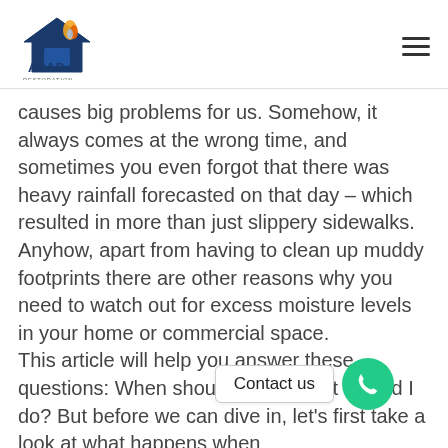ASAP Restoration
causes big problems for us. Somehow, it always comes at the wrong time, and sometimes you even forgot that there was heavy rainfall forecasted on that day – which resulted in more than just slippery sidewalks. Anyhow, apart from having to clean up muddy footprints there are other reasons why you need to watch out for excess moisture levels in your home or commercial space.
This article will help you answer these questions: When should I act? What should I do? But before we can dive in, let's first take a look at what happens when